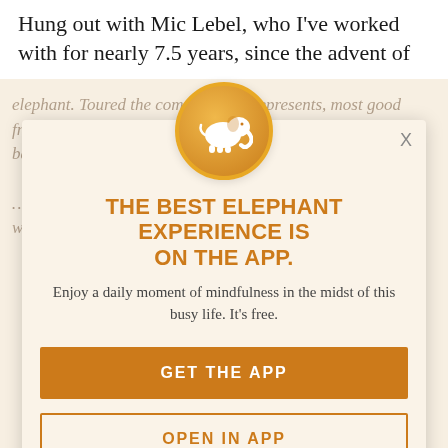Hung out with Mic Lebel, who I've worked with for nearly 7.5 years, since the advent of
elephant. Toured the companies he represents, most good friends of elephant's: Gnayoki, Montalon, etc. Toured the basement, where new companies make it ... Hung out with Marshall of the Phil Group. Hung around with Evel Burritos
[Figure (logo): White elephant silhouette on an orange/gold circular badge]
THE BEST ELEPHANT EXPERIENCE IS ON THE APP.
Enjoy a daily moment of mindfulness in the midst of this busy life. It's free.
GET THE APP
OPEN IN APP